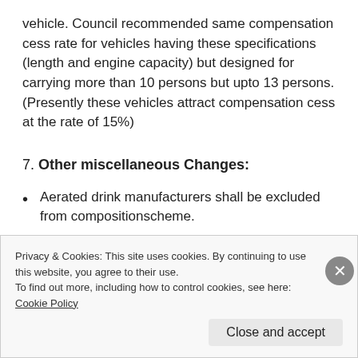vehicle. Council recommended same compensation cess rate for vehicles having these specifications (length and engine capacity) but designed for carrying more than 10 persons but upto 13 persons. (Presently these vehicles attract compensation cess at the rate of 15%)
7. Other miscellaneous Changes:
Aerated drink manufacturers shall be excluded from compositionscheme.
Option to pay GST at the rate of 18% on transaction
Privacy & Cookies: This site uses cookies. By continuing to use this website, you agree to their use.
To find out more, including how to control cookies, see here: Cookie Policy